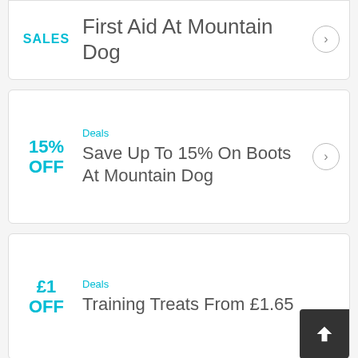SALES — First Aid At Mountain Dog
Deals — 15% OFF — Save Up To 15% On Boots At Mountain Dog
Deals — £1 OFF — Training Treats From £1.65
Deals